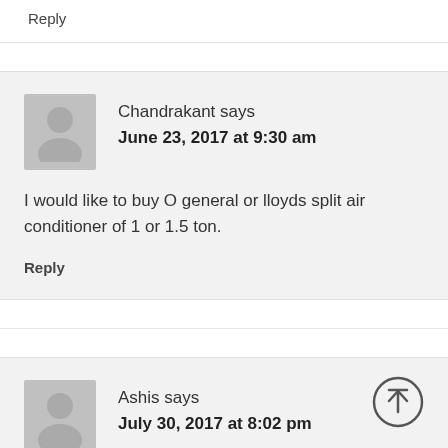Reply
Chandrakant says
June 23, 2017 at 9:30 am
I would like to buy O general or lloyds split air conditioner of 1 or 1.5 ton.
Reply
Ashis says
July 30, 2017 at 8:02 pm